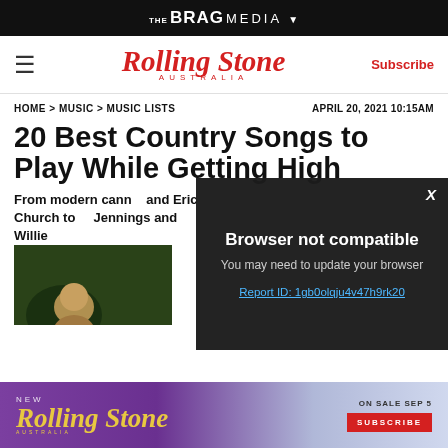THE BRAG MEDIA ▼
[Figure (logo): Rolling Stone Australia logo with hamburger menu and Subscribe button]
HOME > MUSIC > MUSIC LISTS    APRIL 20, 2021 10:15AM
20 Best Country Songs to Play While Getting High
From modern cann... and Eric Church to ... Jennings and Willie...
By MARISSA R. MOS...
[Figure (photo): Person photographed outdoors on dark green background]
[Figure (screenshot): Browser not compatible popup overlay. Text: Browser not compatible. You may need to update your browser. Report ID: 1gb0olqju4v47h9rk20]
[Figure (infographic): Rolling Stone Australia advertisement banner: NEW Rolling Stone AUSTRALIA ON SALE SEP 5 SUBSCRIBE]